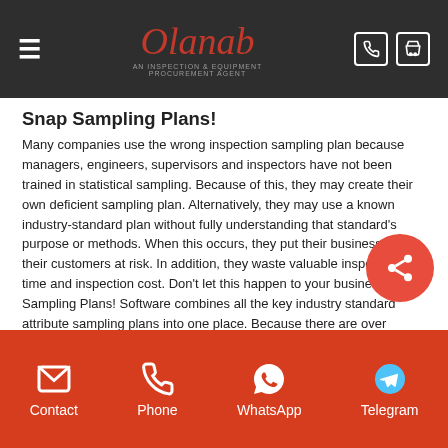Olanab — navigation bar with hamburger, logo, phone and cart icons
Snap Sampling Plans!
Many companies use the wrong inspection sampling plan because managers, engineers, supervisors and inspectors have not been trained in statistical sampling. Because of this, they may create their own deficient sampling plan. Alternatively, they may use a known industry-standard plan without fully understanding that standard's purpose or methods. When this occurs, they put their business and their customers at risk. In addition, they waste valuable inspection time and inspection cost. Don't let this happen to your business. Snap Sampling Plans! Software combines all the key industry standard attribute sampling plans into one place. Because there are over 10,000 sampling possibilities, you need this software to eliminate the confusion. Snap Sampling Plans! guides you in selecting the correct sampling plan.
Snap Sampling Plans lets you eliminate the confusion between
Contact | Phone | WhatsApp | Telegram